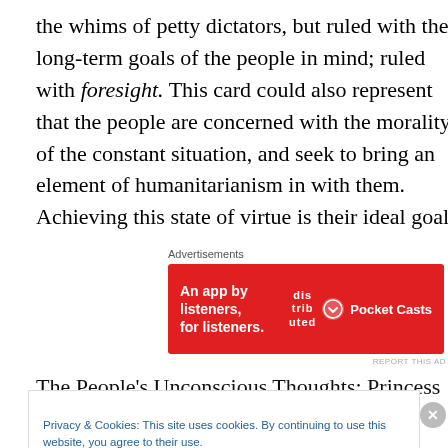the whims of petty dictators, but ruled with the long-term goals of the people in mind; ruled with foresight. This card could also represent that the people are concerned with the morality of the constant situation, and seek to bring an element of humanitarianism in with them. Achieving this state of virtue is their ideal goal.
Advertisements
[Figure (other): Pocket Casts advertisement banner: red background, text 'An app by listeners, for listeners.' with phone graphic and Pocket Casts logo]
The People's Unconscious Thoughts: Princess of Cups
Privacy & Cookies: This site uses cookies. By continuing to use this website, you agree to their use.
To find out more, including how to control cookies, see here: Cookie Policy